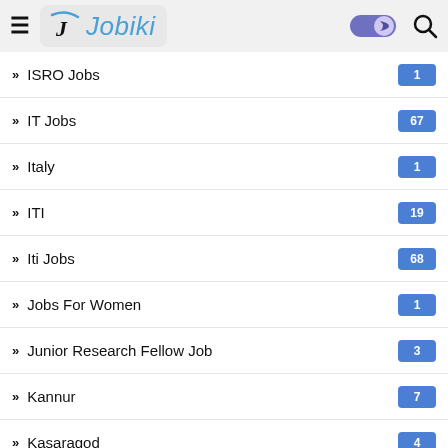Jobiki
ISRO Jobs 1
IT Jobs 67
Italy 1
ITI 19
Iti Jobs 68
Jobs For Women 1
Junior Research Fellow Job 3
Kannur 7
Kasaragod 4
Kerala 13
Kerala Government Jobs 278
Kerala Jobs 519